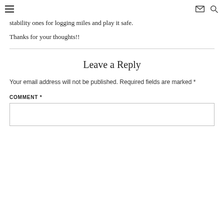☰   ✉ 🔍
stability ones for logging miles and play it safe.
Thanks for your thoughts!!
Leave a Reply
Your email address will not be published. Required fields are marked *
COMMENT *